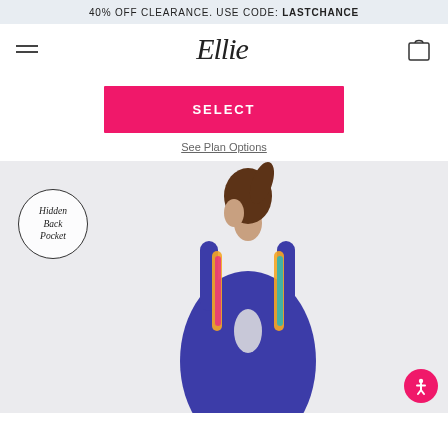40% OFF CLEARANCE. USE CODE: LASTCHANCE
[Figure (logo): Ellie script logo with hamburger menu and shopping bag icon]
SELECT
See Plan Options
[Figure (photo): Woman seen from back wearing blue athletic tank top with open back cutout and colorful sports bra, with a 'Hidden Back Pocket' circular badge overlay]